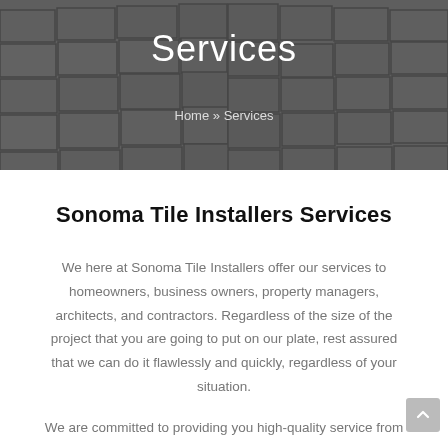[Figure (photo): Hero banner showing tiled wall background in dark gray/charcoal tones with white grout lines, covering a room corner perspective]
Services
Home » Services
Sonoma Tile Installers Services
We here at Sonoma Tile Installers offer our services to homeowners, business owners, property managers, architects, and contractors. Regardless of the size of the project that you are going to put on our plate, rest assured that we can do it flawlessly and quickly, regardless of your situation.
We are committed to providing you high-quality service from